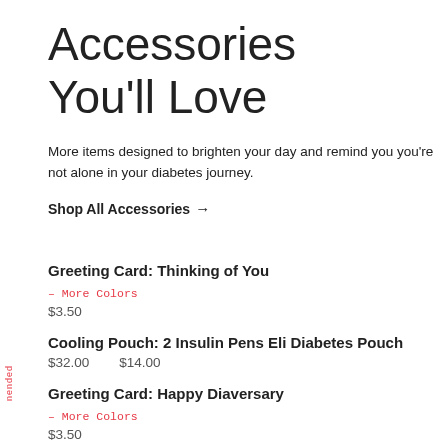Accessories You'll Love
More items designed to brighten your day and remind you you're not alone in your diabetes journey.
Shop All Accessories →
Greeting Card: Thinking of You
– More Colors
$3.50
Cooling Pouch: 2 Insulin Pens Eli Diabetes Pouch
$32.00   $14.00
Greeting Card: Happy Diaversary
– More Colors
$3.50
nended